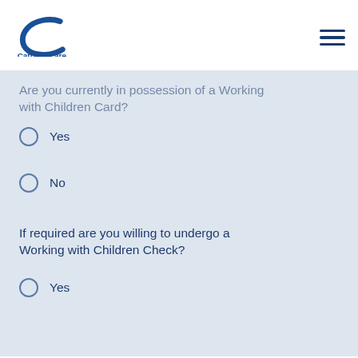[Figure (logo): CatholicCare Canberra & Goulburn logo with blue stylized C graphic and organisation name]
Are you currently in possession of a Working with Children Card?
Yes
No
If required are you willing to undergo a Working with Children Check?
Yes